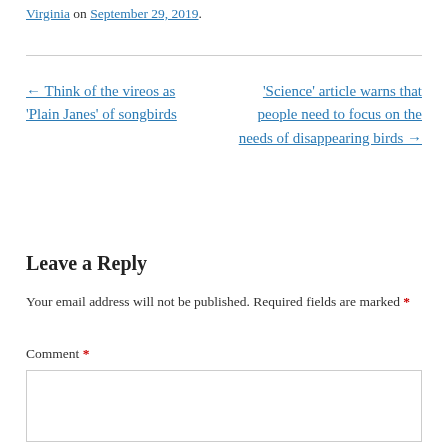Virginia on September 29, 2019.
← Think of the vireos as 'Plain Janes' of songbirds
'Science' article warns that people need to focus on the needs of disappearing birds →
Leave a Reply
Your email address will not be published. Required fields are marked *
Comment *